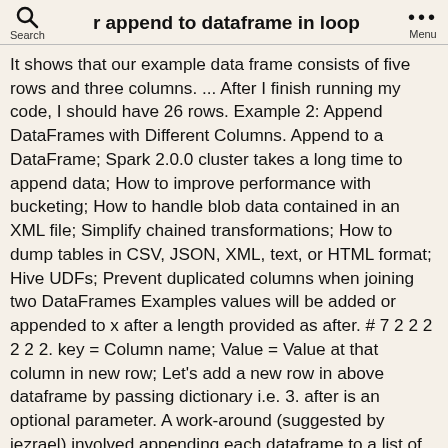r append to dataframe in loop
It shows that our example data frame consists of five rows and three columns. ... After I finish running my code, I should have 26 rows. Example 2: Append DataFrames with Different Columns. Append to a DataFrame; Spark 2.0.0 cluster takes a long time to append data; How to improve performance with bucketing; How to handle blob data contained in an XML file; Simplify chained transformations; How to dump tables in CSV, JSON, XML, text, or HTML format; Hive UDFs; Prevent duplicated columns when joining two DataFrames Examples values will be added or appended to x after a length provided as after. # 7 2 2 2 2 2 2. key = Column name; Value = Value at that column in new row; Let's add a new row in above dataframe by passing dictionary i.e. 3. after is an optional parameter. A work-around (suggested by jezrael) involved appending each dataframe to a list of dataframes and concatenating them using pd.concat. See Also. # rbind(df1, df2) Method 2: Use nrow() to append a row. How can I structure a loop in R so that no matter how